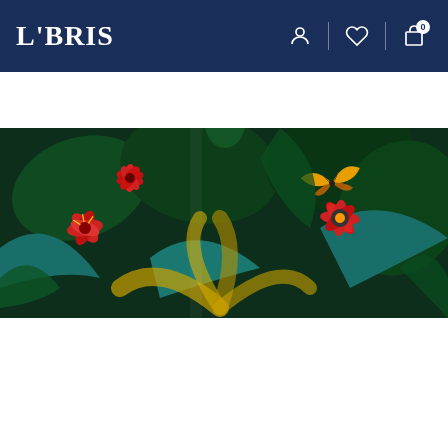LIBRIS
Cauta printre rafturile noastre
[Figure (photo): Product image: tropical jungle scene with dense green foliage, red exotic flowers, and a colorful butterfly]
-10%
TRANSPORT GRATUIT
177.35 Lei  197.06 Lei
Sau 17735 de puncte
Livrare in 2-4 saptamani